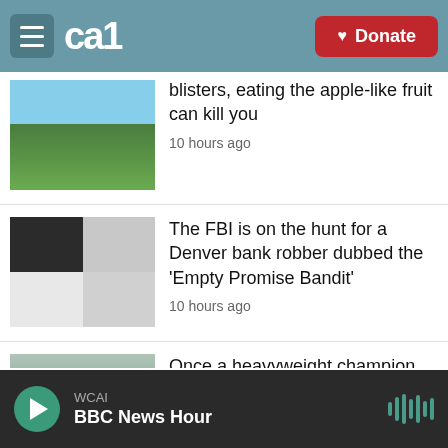CAI | Donate
blisters, eating the apple-like fruit can kill you
10 hours ago
The FBI is on the hunt for a Denver bank robber dubbed the 'Empty Promise Bandit'
10 hours ago
Once a heavyweight champion, Kyiv's mayor now fights the Russians
10 hours ago
WCAI
BBC News Hour